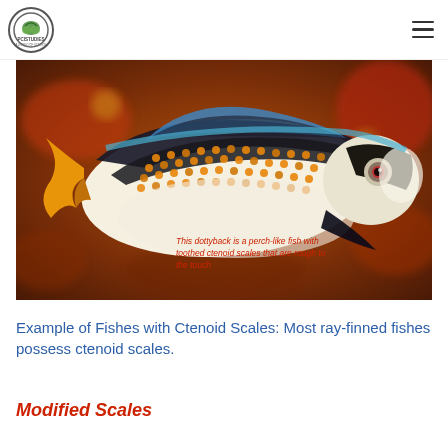PCISTUDIES
[Figure (photo): A dottyback fish with ctenoid scales — black and orange patterned scales, blue-tipped dorsal fin, yellow tail, red eye — photographed underwater against a blurred coral background. Caption overlay reads: 'This dottyback is a perch-like fish with toothed ctenoid scales that are rough to the touch']
This dottyback is a perch-like fish with toothed ctenoid scales that are rough to the touch
Example of Fishes with Ctenoid Scales: Most ray-finned fishes possess ctenoid scales.
Modified Scales